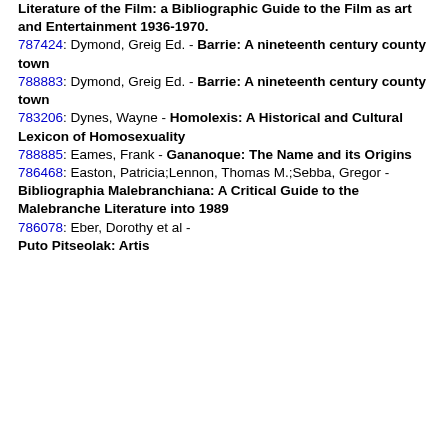Literature of the Film: a Bibliographic Guide to the Film as art and Entertainment 1936-1970.
787424: Dymond, Greig Ed. - Barrie: A nineteenth century county town
788883: Dymond, Greig Ed. - Barrie: A nineteenth century county town
783206: Dynes, Wayne - Homolexis: A Historical and Cultural Lexicon of Homosexuality
788885: Eames, Frank - Gananoque: The Name and its Origins
786468: Easton, Patricia;Lennon, Thomas M.;Sebba, Gregor - Bibliographia Malebranchiana: A Critical Guide to the Malebranche Literature into 1989
786078: Eber, Dorothy et al - Puto Pitseolak: Artist of ...